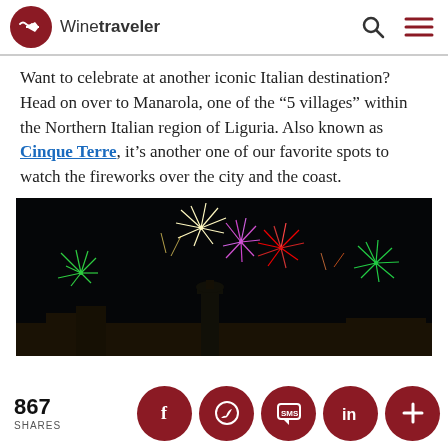Winetraveler
Want to celebrate at another iconic Italian destination? Head on over to Manarola, one of the “5 villages” within the Northern Italian region of Liguria. Also known as Cinque Terre, it’s another one of our favorite spots to watch the fireworks over the city and the coast.
[Figure (photo): Night sky fireworks over a city with a church tower silhouetted against the dark sky, colorful fireworks bursting in red, green, yellow and pink.]
867 SHARES | Social share buttons: Facebook, WhatsApp, SMS, LinkedIn, More